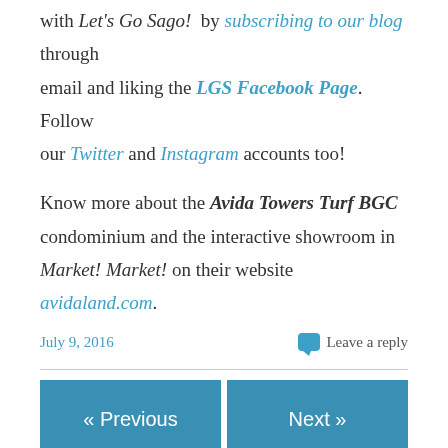with Let's Go Sago! by subscribing to our blog through email and liking the LGS Facebook Page. Follow our Twitter and Instagram accounts too!
Know more about the Avida Towers Turf BGC condominium and the interactive showroom in Market! Market! on their website avidaland.com.
July 9, 2016   Leave a reply
« Previous   Next »
Leave a Reply